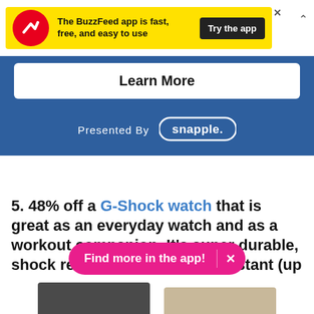[Figure (screenshot): BuzzFeed app advertisement banner on yellow background with red circular arrow logo, text 'The BuzzFeed app is fast, free, and easy to use', and a 'Try the app' button]
[Figure (screenshot): Blue section with 'Learn More' white button and 'Presented By snapple' branding]
5. 48% off a G-Shock watch that is great as an everyday watch and as a workout companion. It's super durable, shock resistant, and water resistant (up to 200 metres). The watch also has built-in stopwatch, timer, and alarm features. You'll neve
[Figure (screenshot): Pink pill-shaped CTA button with text 'Find more in the app!' and an X close button]
[Figure (photo): Bottom portion of G-Shock watches, dark grey and tan/light brown colorways]